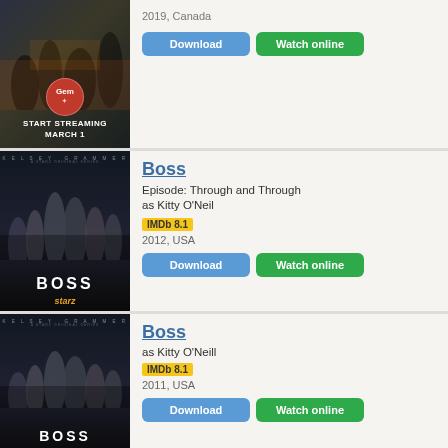[Figure (photo): TV show thumbnail - Gem network show with red gem logo and 'MARCH 1' text]
2019, Canada
Download
Watch online
[Figure (photo): Boss TV show poster - Starz original series with Kelsey Grammer, group of people, BOSS title and starz logo]
Boss
Episode: Through and Through as Kitty O'Neil
IMDb 8.1
2012, USA
Download
Watch online
[Figure (photo): Boss TV show poster - Starz original series with Kelsey Grammer, same group photo]
Boss
as Kitty O'Neill
IMDb 8.1
2011, USA
Download
Watch online